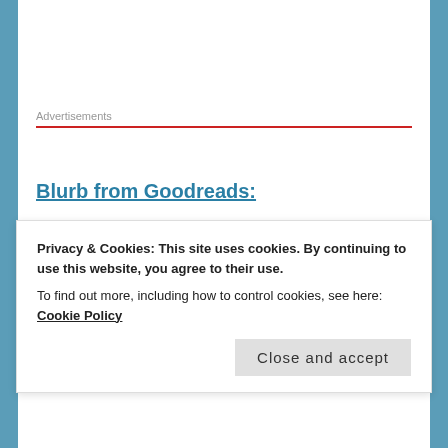Advertisements
Blurb from Goodreads:
Set in a near-future England where the poorest people in the land are forced to sell their children to a travelling circus – to perform at the mercy of hungry lions, sabotaged high wires and a demonic ringmaster. The ruling class visit the circus as an escape from their structured, high-
Privacy & Cookies: This site uses cookies. By continuing to use this website, you agree to their use.
To find out more, including how to control cookies, see here: Cookie Policy